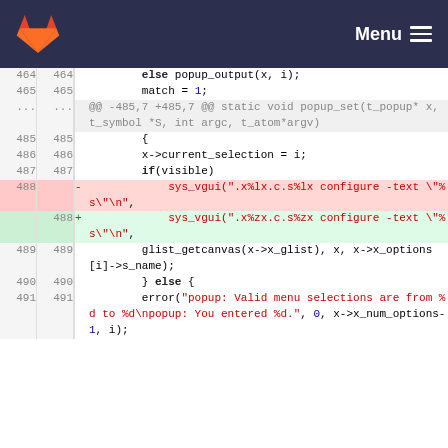GitLab Menu
Code diff view showing lines 464-491 of a C source file with changes to sys_vgui function calls changing %lx format specifiers to %zx